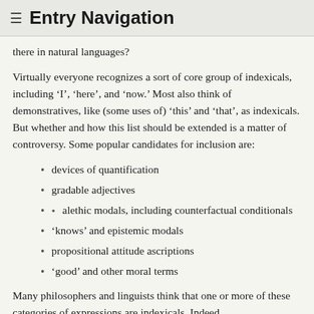≡ Entry Navigation
there in natural languages?
Virtually everyone recognizes a sort of core group of indexicals, including ‘I’, ‘here’, and ‘now.’ Most also think of demonstratives, like (some uses of) ‘this’ and ‘that’, as indexicals. But whether and how this list should be extended is a matter of controversy. Some popular candidates for inclusion are:
devices of quantification
gradable adjectives
alethic modals, including counterfactual conditionals
‘knows’ and epistemic modals
propositional attitude ascriptions
‘good’ and other moral terms
Many philosophers and linguists think that one or more of these categories of expressions are indexicals. Indeed,